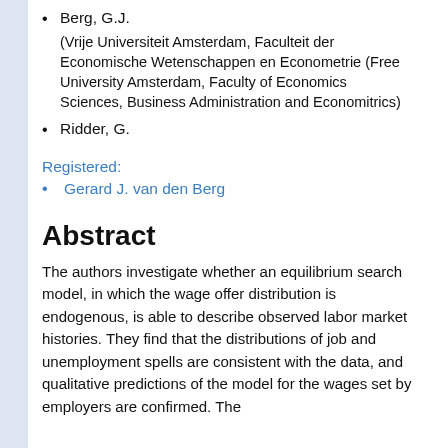Berg, G.J.
(Vrije Universiteit Amsterdam, Faculteit der Economische Wetenschappen en Econometrie (Free University Amsterdam, Faculty of Economics Sciences, Business Administration and Economitrics)
Ridder, G.
Registered:
Gerard J. van den Berg
Abstract
The authors investigate whether an equilibrium search model, in which the wage offer distribution is endogenous, is able to describe observed labor market histories. They find that the distributions of job and unemployment spells are consistent with the data, and qualitative predictions of the model for the wages set by employers are confirmed. The